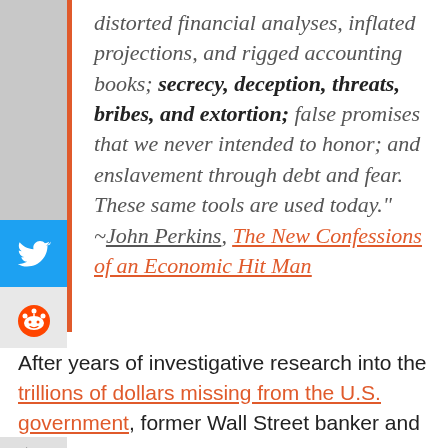distorted financial analyses, inflated projections, and rigged accounting books; secrecy, deception, threats, bribes, and extortion; false promises that we never intended to honor; and enslavement through debt and fear. These same tools are used today." ~John Perkins, The New Confessions of an Economic Hit Man
After years of investigative research into the trillions of dollars missing from the U.S. government, former Wall Street banker and